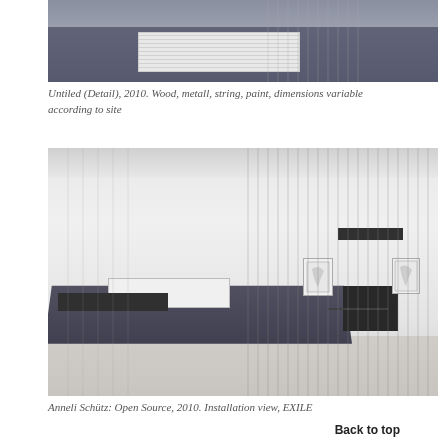[Figure (photo): Close-up detail view of an art installation showing a dark grey platform/table with a white paper/print on it, suspended strings above, against a grey ceiling background.]
Untiled (Detail), 2010. Wood, metall, string, paint, dimensions variable according to site
[Figure (photo): Installation view of Anneli Schütz: Open Source, 2010 at EXILE gallery. White gallery space with vertical strings hanging from ceiling, a dark rectangular bar suspended in mid-air on left, a dark platform/table on floor with white print, two small framed works on back wall, a dark cube on right floor, and a dark bar suspended upper right.]
Anneli Schütz: Open Source, 2010. Installation view, EXILE
Back to top